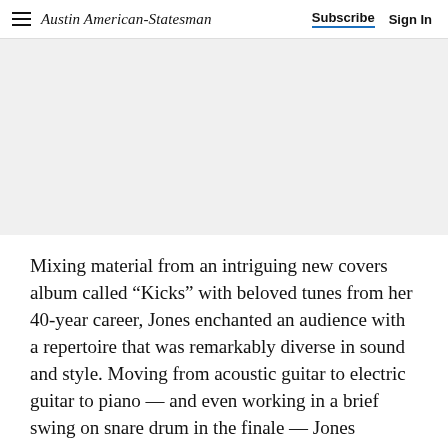Austin American-Statesman  Subscribe  Sign In
[Figure (other): Advertisement / banner area with light gray background]
Mixing material from an intriguing new covers album called “Kicks” with beloved tunes from her 40-year career, Jones enchanted an audience with a repertoire that was remarkably diverse in sound and style. Moving from acoustic guitar to electric guitar to piano — and even working in a brief swing on snare drum in the finale — Jones